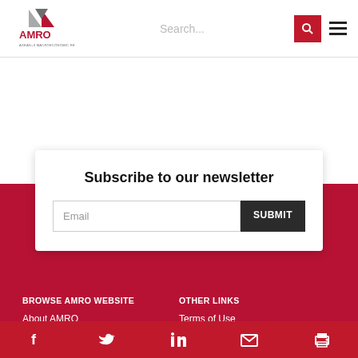[Figure (logo): AMRO logo with red triangle/chevron graphic and AMRO text]
Search...
Subscribe to our newsletter
Email
SUBMIT
BROWSE AMRO WEBSITE
OTHER LINKS
About AMRO
Terms of Use
[Figure (infographic): Social media icons bar: Facebook, Twitter, LinkedIn, Email, Print]